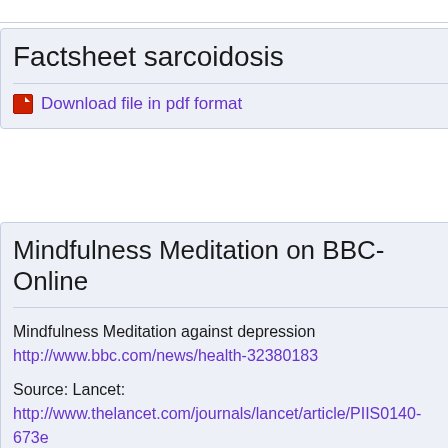Factsheet sarcoidosis
Download file in pdf format
Mindfulness Meditation on BBC-Online
Mindfulness Meditation against depression
http://www.bbc.com/news/health-32380183

Source: Lancet:
http://www.thelancet.com/journals/lancet/article/PIIS0140-673...

Comments by Dr Linda Charvoz Psychologist - Psychothe...
for the  Stress Management Program of the Swiss Sarcoid...